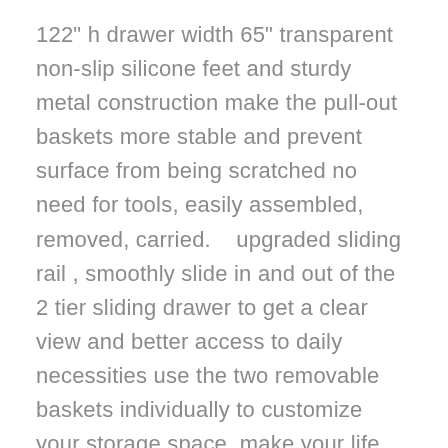122" h drawer width 65" transparent non-slip silicone feet and sturdy metal construction make the pull-out baskets more stable and prevent surface from being scratched no need for tools, easily assembled, removed, carried.    upgraded sliding rail , smoothly slide in and out of the 2 tier sliding drawer to get a clear view and better access to daily necessities use the two removable baskets individually to customize your storage space, make your life more convenient.    create extra storage , add available vertical space of your cabinet, pantry, countertop, kitchen, bathroom, office and crafts room with the pull out drawers maximize the use of limited space, organize bathroom supplies, spices, cans, cosmetics, cleaning products under sink.    heavy duty , made of high-quality stainless steel, the sliding basket can withstand heavy items without deformation classic brown coating prevents the basket